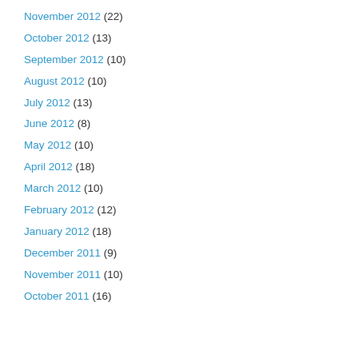November 2012 (22)
October 2012 (13)
September 2012 (10)
August 2012 (10)
July 2012 (13)
June 2012 (8)
May 2012 (10)
April 2012 (18)
March 2012 (10)
February 2012 (12)
January 2012 (18)
December 2011 (9)
November 2011 (10)
October 2011 (16)